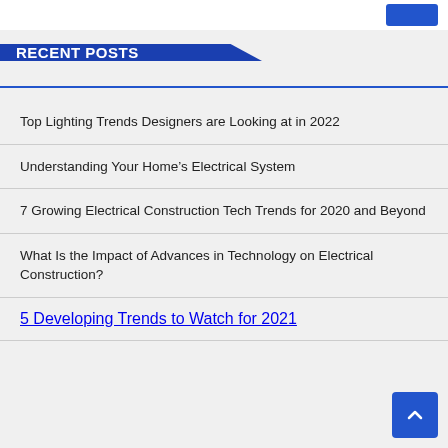RECENT POSTS
Top Lighting Trends Designers are Looking at in 2022
Understanding Your Home's Electrical System
7 Growing Electrical Construction Tech Trends for 2020 and Beyond
What Is the Impact of Advances in Technology on Electrical Construction?
5 Developing Trends to Watch for 2021